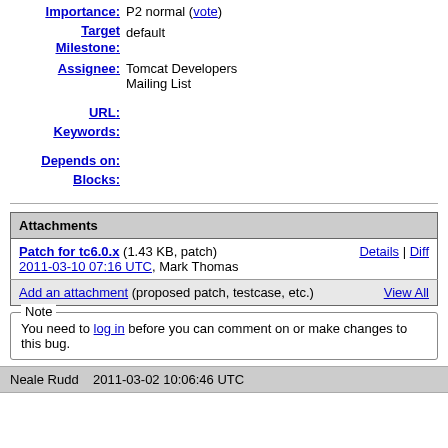Importance: P2 normal (vote)
Target Milestone: default
Assignee: Tomcat Developers Mailing List
URL:
Keywords:
Depends on:
Blocks:
| Attachments |  |  |
| --- | --- | --- |
| Patch for tc6.0.x (1.43 KB, patch) 2011-03-10 07:16 UTC, Mark Thomas | Details | Diff |  |
| Add an attachment (proposed patch, testcase, etc.) |  | View All |
Note
You need to log in before you can comment on or make changes to this bug.
Neale Rudd   2011-03-02 10:06:46 UTC